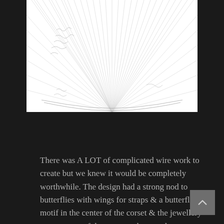[Figure (illustration): Pencil sketch of a fan-shaped gown or skirt with many radiating lines spreading outward from a central point, drawn in graphite on white paper. Some handwritten annotations visible on the left side.]
There was A LOT of complicated wire work to create but we knew it would be completely worthwhile. The design had a strong nod to butterflies with wings for straps & a butterfly motif in the center of the corset & the jewellery components of the gown took several